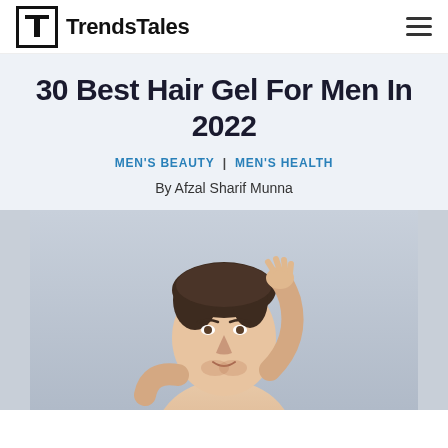TrendsTales
30 Best Hair Gel For Men In 2022
MEN'S BEAUTY | MEN'S HEALTH
By Afzal Sharif Munna
[Figure (photo): A man touching his hair on a grey background, shirtless, looking at the camera]